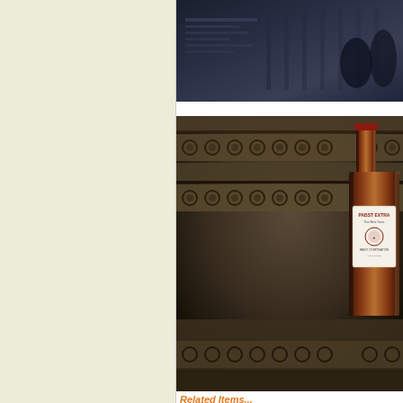[Figure (photo): Dark architectural/urban scene, grayscale, appears to show a building facade or signage in low light]
[Figure (photo): Close-up photo of ornate carved stone architectural detail with a Pabst Extra beer bottle placed on it]
Related Items...
[Figure (photo): Thumbnail image of Pabst Brewing Company related item]
The Pabst Brewing Compa...